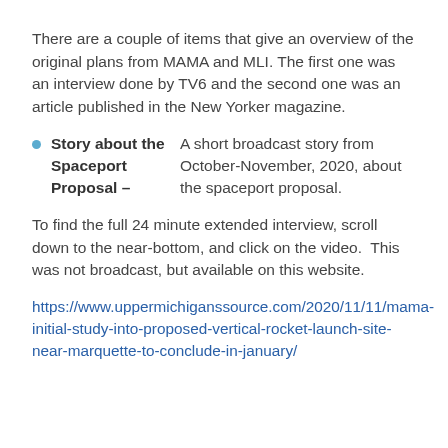There are a couple of items that give an overview of the original plans from MAMA and MLI. The first one was an interview done by TV6 and the second one was an article published in the New Yorker magazine.
Story about the Spaceport Proposal – A short broadcast story from October-November, 2020, about the spaceport proposal.
To find the full 24 minute extended interview, scroll down to the near-bottom, and click on the video.  This was not broadcast, but available on this website.
https://www.uppermichiganssource.com/2020/11/11/mama-initial-study-into-proposed-vertical-rocket-launch-site-near-marquette-to-conclude-in-january/